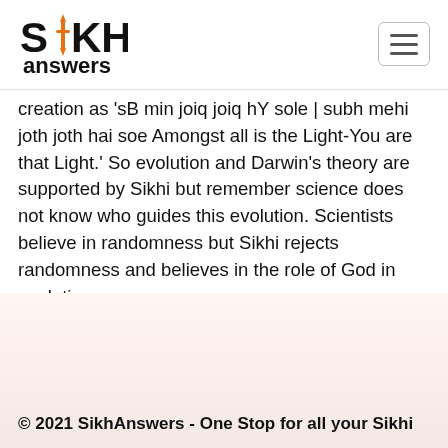Sikh Answers
creation as 'sB min joiq joiq hY sole | subh mehi joth joth hai soe Amongst all is the Light-You are that Light.' So evolution and Darwin's theory are supported by Sikhi but remember science does not know who guides this evolution. Scientists believe in randomness but Sikhi rejects randomness and believes in the role of God in evolution.
© 2021 SikhAnswers - One Stop for all your Sikhi